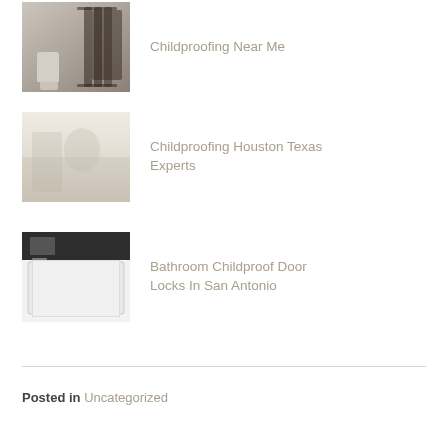Childproofing Near Me
Childproofing Houston Texas Experts
Bathroom Childproof Door Locks In San Antonio
Posted in Uncategorized